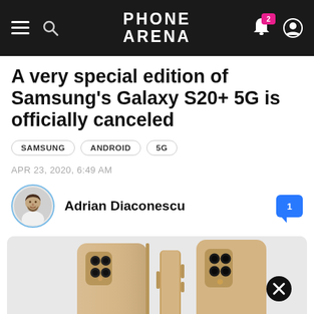Phone Arena
A very special edition of Samsung's Galaxy S20+ 5G is officially canceled
SAMSUNG
ANDROID
5G
APR 23, 2020, 6:49 AM
Adrian Diaconescu
[Figure (photo): Three Samsung Galaxy S20+ 5G phones in gold/champagne color shown from back and side angles]